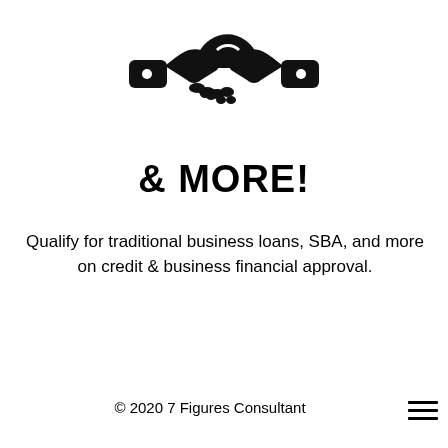[Figure (illustration): Black silhouette icon of two hands shaking in a handshake, symbolizing a business deal or partnership.]
& MORE!
Qualify for traditional business loans, SBA, and more on credit & business financial approval.
© 2020 7 Figures Consultant